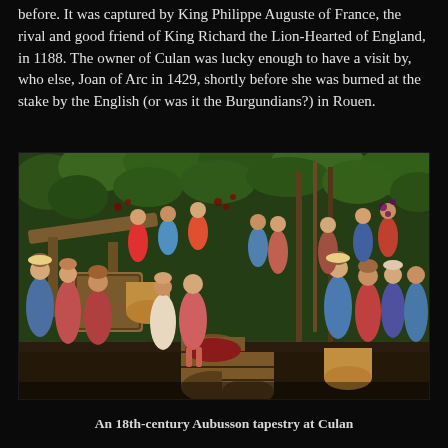before. It was captured by King Philippe Auguste of France, the rival and good friend of King Richard the Lion-Hearted of England, in 1188. The owner of Culan was lucky enough to have a visit by, who else, Joan of Arc in 1429, shortly before she was burned at the stake by the English (or was it the Burgundians?) in Rouen.
[Figure (photo): A medieval tapestry depicting a grape harvest scene with numerous figures in period clothing. People are shown picking grapes, carrying baskets, and operating a wine press. The background features lush green foliage and trees. The scene is richly detailed with colorful garments in red, blue, and gold tones.]
An 18th-century Aubusson tapestry at Culan